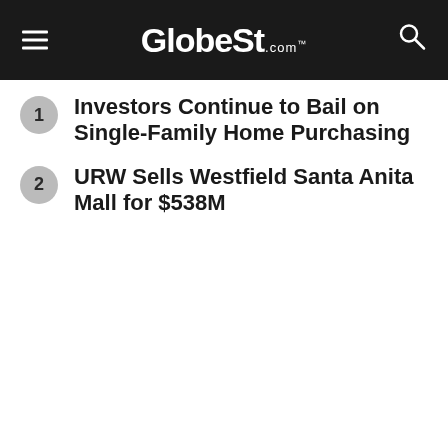GlobeSt.com™
Investors Continue to Bail on Single-Family Home Purchasing
URW Sells Westfield Santa Anita Mall for $538M